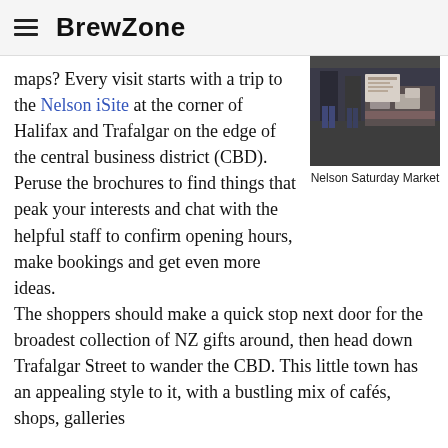BrewZone
maps? Every visit starts with a trip to the Nelson iSite at the corner of Halifax and Trafalgar on the edge of the central business district (CBD). Peruse the brochures to find things that peak your interests and chat with the helpful staff to confirm opening hours, make bookings and get even more ideas. The shoppers should make a quick stop next door for the broadest collection of NZ gifts around, then head down Trafalgar Street to wander the CBD. This little town has an appealing style to it, with a bustling mix of cafés, shops, galleries
[Figure (photo): Photo of Nelson Saturday Market showing people at a market stall]
Nelson Saturday Market